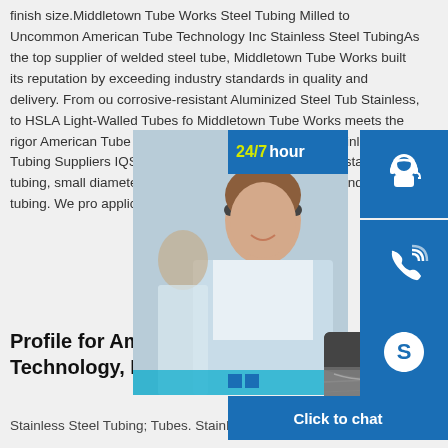finish size.Middletown Tube Works Steel Tubing Milled to Uncommon American Tube Technology Inc Stainless Steel TubingAs the top supplier of welded steel tube, Middletown Tube Works built its reputation by exceeding industry standards in quality and delivery. From our corrosive-resistant Aluminized Steel Tube Stainless, to HSLA Light-Walled Tubes for Middletown Tube Works meets the rigorous American Tube Technology Inc Stainless S 316 Stainless Steel Tubing Suppliers IQSA Technology is a manufacturer of stainless tubing, small diameter tubing, precision needle tubing and nickel tubing. We provide application knowledge and manufacturing
[Figure (photo): Customer service representative smiling, with 24/7 hour chat widget overlay showing headset icon, phone icon, and Skype icon buttons, with Click to chat bar at bottom]
Profile for American Tube Technology, Inc. (Denver, CO)
Stainless Steel Tubing; Tubes. Stainless
[Figure (photo): Close-up photo of steel tubing or metal sheet product]